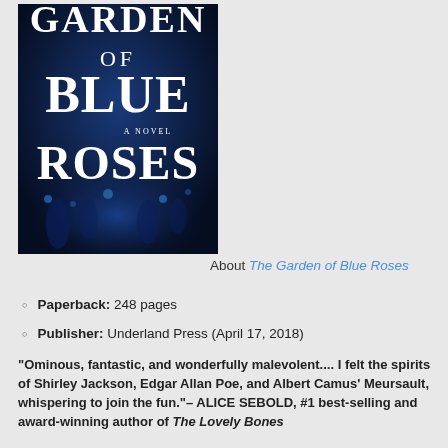[Figure (illustration): Book cover for 'Garden of Blue Roses — A Novel' with dark blue background showing garden/chess piece imagery and large white serif text]
About The Garden of Blue Roses
Paperback: 248 pages
Publisher: Underland Press (April 17, 2018)
“Ominous, fantastic, and wonderfully malevolent.... I felt the spirits of Shirley Jackson, Edgar Allan Poe, and Albert Camus’ Meursault, whispering to join the fun.”– ALICE SEBOLD, #1 best-selling and award-winning author of The Lovely Bones